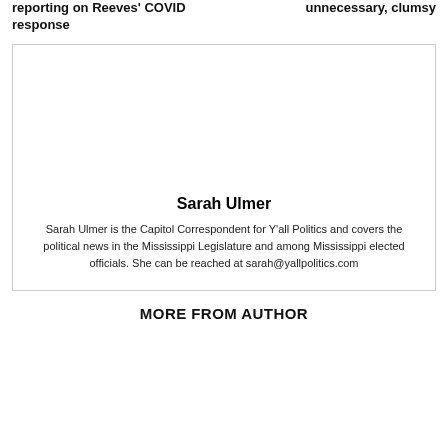reporting on Reeves' COVID response
unnecessary, clumsy
Sarah Ulmer
Sarah Ulmer is the Capitol Correspondent for Y'all Politics and covers the political news in the Mississippi Legislature and among Mississippi elected officials. She can be reached at sarah@yallpolitics.com
MORE FROM AUTHOR